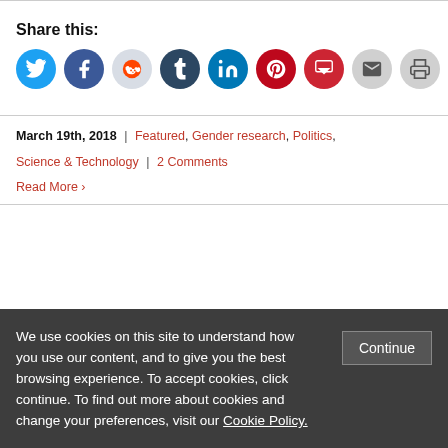Share this:
[Figure (other): Social sharing icons: Twitter, Facebook, Reddit, Tumblr, LinkedIn, Pinterest, Pocket, Email, Print]
March 19th, 2018 | Featured, Gender research, Politics, Science & Technology | 2 Comments
Read More ›
We use cookies on this site to understand how you use our content, and to give you the best browsing experience. To accept cookies, click continue. To find out more about cookies and change your preferences, visit our Cookie Policy.